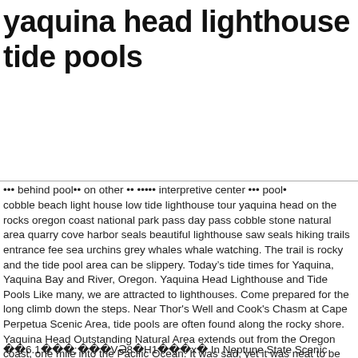yaquina head lighthouse tide pools
...truncated/corrupted line about interpretive center and pools...
cobble beach light house low tide lighthouse tour yaquina head on the rocks oregon coast national park pass day pass cobble stone natural area quarry cove harbor seals beautiful lighthouse saw seals hiking trails entrance fee sea urchins grey whales whale watching. The trail is rocky and the tide pool area can be slippery. Today’s tide times for Yaquina, Yaquina Bay and River, Oregon. Yaquina Head Lighthouse and Tide Pools Like many, we are attracted to lighthouses. Come prepared for the long climb down the steps. Near Thor's Well and Cook's Chasm at Cape Perpetua Scenic Area, tide pools are often found along the rocky shore. Yaquina Head Outstanding Natural Area extends out from the Oregon coast, one mile into the Pacific Ocean. It was sad, yet it was neat to be able to get a close look at the seal. Yaquina Head LIghthouse and Tide Pools You could make a whole summer trip traveling the coast of Oregon by stopping at each lighthouse, all 9 of them and checking out the sites around them. Like when you can actually visit… because that’s pretty important!
��6.1���;���VƏ8�H1���x� In Neptune State Scenic